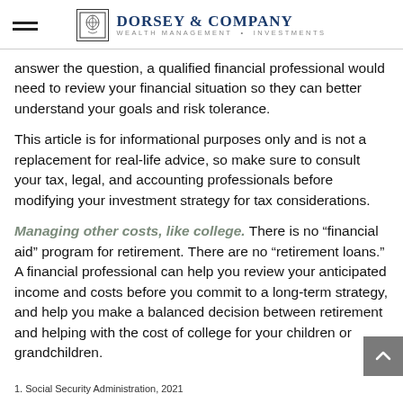Dorsey & Company — Wealth Management • Investments
answer the question, a qualified financial professional would need to review your financial situation so they can better understand your goals and risk tolerance.
This article is for informational purposes only and is not a replacement for real-life advice, so make sure to consult your tax, legal, and accounting professionals before modifying your investment strategy for tax considerations.
Managing other costs, like college. There is no “financial aid” program for retirement. There are no “retirement loans.” A financial professional can help you review your anticipated income and costs before you commit to a long-term strategy, and help you make a balanced decision between retirement and helping with the cost of college for your children or grandchildren.
1. Social Security Administration, 2021